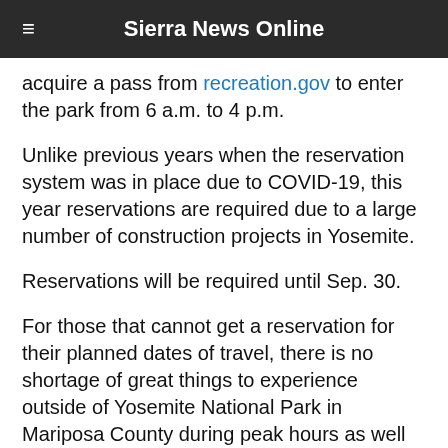Sierra News Online
acquire a pass from recreation.gov to enter the park from 6 a.m. to 4 p.m.
Unlike previous years when the reservation system was in place due to COVID-19, this year reservations are required due to a large number of construction projects in Yosemite.
Reservations will be required until Sep. 30.
For those that cannot get a reservation for their planned dates of travel, there is no shortage of great things to experience outside of Yosemite National Park in Mariposa County during peak hours as well as ways to get into the park without a reservation.